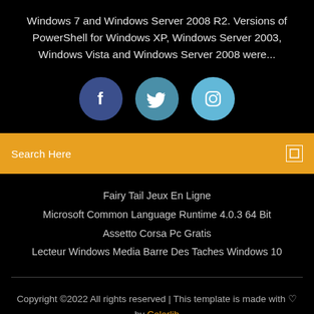Windows 7 and Windows Server 2008 R2. Versions of PowerShell for Windows XP, Windows Server 2003, Windows Vista and Windows Server 2008 were...
[Figure (infographic): Three social media icon circles: Facebook (dark blue), Twitter (teal/blue), Instagram (light blue)]
Search Here
Fairy Tail Jeux En Ligne
Microsoft Common Language Runtime 4.0.3 64 Bit
Assetto Corsa Pc Gratis
Lecteur Windows Media Barre Des Taches Windows 10
Copyright ©2022 All rights reserved | This template is made with ♡ by Colorlib